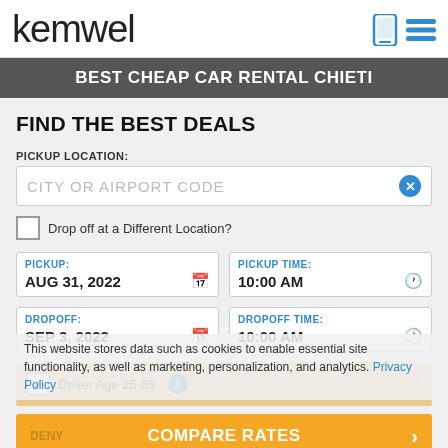kemwel
BEST CHEAP CAR RENTAL CHIETI
FIND THE BEST DEALS
PICKUP LOCATION:
CITY OR AIRPORT CODE
Drop off at a Different Location?
PICKUP: AUG 31, 2022
PICKUP TIME: 10:00 AM
DROPOFF: SEP 3, 2022
DROPOFF TIME: 10:00 AM
This website stores data such as cookies to enable essential site functionality, as well as marketing, personalization, and analytics. Privacy Policy
Driver Age 25-69
DENY   COMPARE RATES